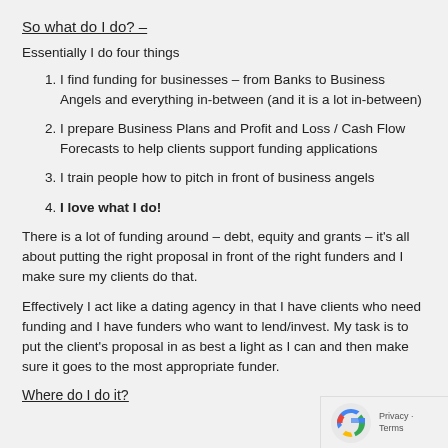So what do I do? –
Essentially I do four things
I find funding for businesses – from Banks to Business Angels and everything in-between (and it is a lot in-between)
I prepare Business Plans and Profit and Loss / Cash Flow Forecasts to help clients support funding applications
I train people how to pitch in front of business angels
I love what I do!
There is a lot of funding around – debt, equity and grants – it's all about putting the right proposal in front of the right funders and I make sure my clients do that.
Effectively I act like a dating agency in that I have clients who need funding and I have funders who want to lend/invest. My task is to put the client's proposal in as best a light as I can and then make sure it goes to the most appropriate funder.
Where do I do it?